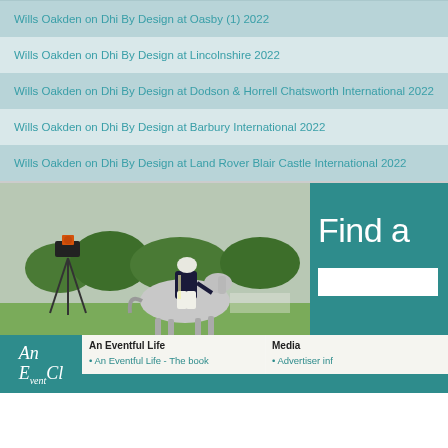Wills Oakden on Dhi By Design at Oasby (1) 2022
Wills Oakden on Dhi By Design at Lincolnshire 2022
Wills Oakden on Dhi By Design at Dodson & Horrell Chatsworth International 2022
Wills Oakden on Dhi By Design at Barbury International 2022
Wills Oakden on Dhi By Design at Land Rover Blair Castle International 2022
[Figure (photo): Equestrian rider on grey horse at a cross-country event, with a camera on a tripod in the foreground]
Find a
An Eventful Life
• An Eventful Life - The book
Media
• Advertiser inf